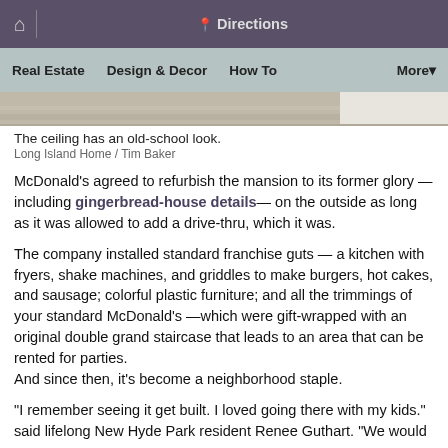Directions
Real Estate  Design & Decor  How To  More
[Figure (photo): Partial view of an old-style wooden ceiling]
The ceiling has an old-school look.
Long Island Home / Tim Baker
McDonald's agreed to refurbish the mansion to its former glory — including gingerbread-house details— on the outside as long as it was allowed to add a drive-thru, which it was.
The company installed standard franchise guts — a kitchen with fryers, shake machines, and griddles to make burgers, hot cakes, and sausage; colorful plastic furniture; and all the trimmings of your standard McDonald's —which were gift-wrapped with an original double grand staircase that leads to an area that can be rented for parties.
And since then, it's become a neighborhood staple.
“I remember seeing it get built. I loved going there with my kids.” said lifelong New Hyde Park resident Renee Guthart. “We would